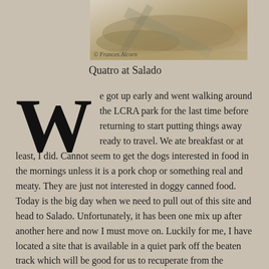[Figure (photo): Photograph of Quatro at Salado, showing a ground-level outdoor scene with sandy/dirt surface and shadows. Photo credit: © Frances Alcorn]
Quatro at Salado
We got up early and went walking around the LCRA park for the last time before returning to start putting things away ready to travel. We ate breakfast or at least, I did. Cannot seem to get the dogs interested in food in the mornings unless it is a pork chop or something real and meaty. They are just not interested in doggy canned food. Today is the big day when we need to pull out of this site and head to Salado. Unfortunately, it has been one mix up after another here and now I must move on. Luckily for me, I have located a site that is available in a quiet park off the beaten track which will be good for us to recuperate from the reservation problems at Bastrop LCRA North Shore Park. Plus, it has full hookups. Yeah.